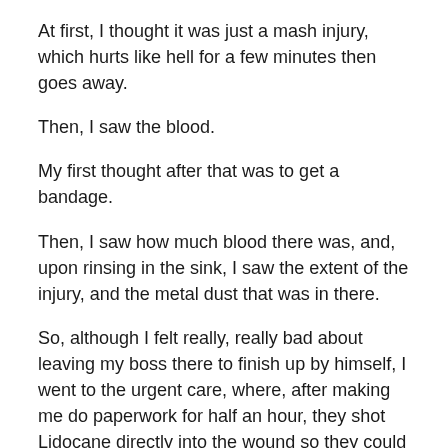At first, I thought it was just a mash injury, which hurts like hell for a few minutes then goes away.
Then, I saw the blood.
My first thought after that was to get a bandage.
Then, I saw how much blood there was, and, upon rinsing in the sink, I saw the extent of the injury, and the metal dust that was in there.
So, although I felt really, really bad about leaving my boss there to finish up by himself, I went to the urgent care, where, after making me do paperwork for half an hour, they shot Lidocane directly into the wound so they could open it up with some sort of Medieval torture device and clean it.
They also...